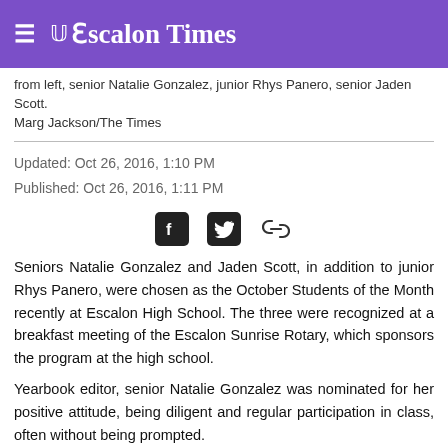Escalon Times
from left, senior Natalie Gonzalez, junior Rhys Panero, senior Jaden Scott.
Marg Jackson/The Times
Updated: Oct 26, 2016, 1:10 PM
Published: Oct 26, 2016, 1:11 PM
[Figure (other): Social share icons: Facebook, Twitter, and link]
Seniors Natalie Gonzalez and Jaden Scott, in addition to junior Rhys Panero, were chosen as the October Students of the Month recently at Escalon High School. The three were recognized at a breakfast meeting of the Escalon Sunrise Rotary, which sponsors the program at the high school.
Yearbook editor, senior Natalie Gonzalez was nominated for her positive attitude, being diligent and regular participation in class, often without being prompted.